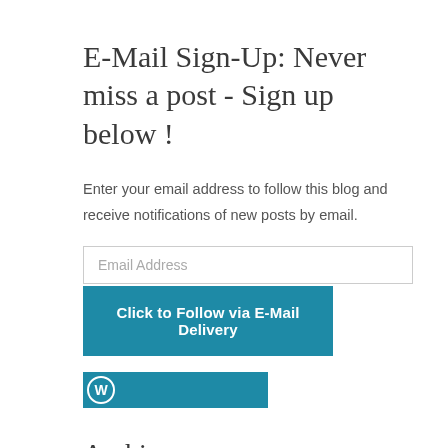E-Mail Sign-Up: Never miss a post - Sign up below !
Enter your email address to follow this blog and receive notifications of new posts by email.
[Figure (screenshot): Email address input field and a teal 'Click to Follow via E-Mail Delivery' button, followed by a teal WordPress icon button]
Archives
[Figure (screenshot): A grey dropdown/select box for archive month selection, partially visible]